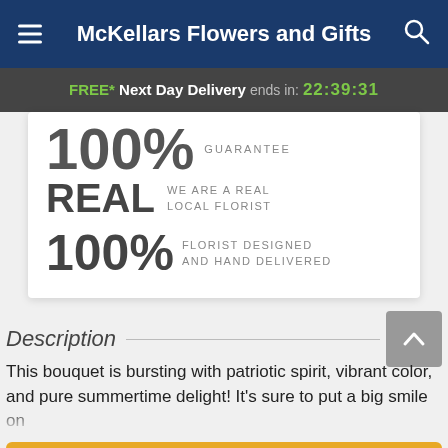McKellars Flowers and Gifts
FREE* Next Day Delivery ends in: 22:39:31
100% GUARANTEE
REAL  WE ARE A REAL LOCAL FLORIST
100%  FLORIST DESIGNED AND HAND DELIVERED
Description
This bouquet is bursting with patriotic spirit, vibrant color, and pure summertime delight! It's sure to put a big smile on
Start Order